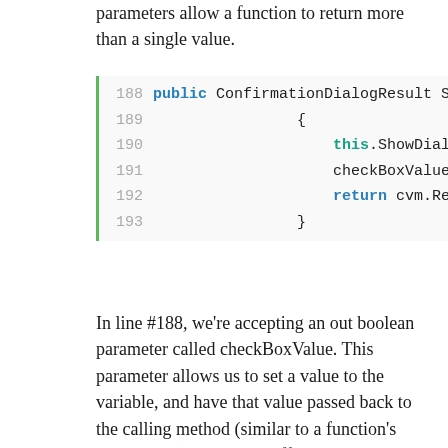parameters allow a function to return more than a single value.
[Figure (screenshot): Code snippet lines 188-193 showing a C# method with public keyword, ConfirmationDialogResult return type, this.ShowDialog(), checkBoxValue = cvm.Ch..., return cvm.Result;]
In line #188, we're accepting an out boolean parameter called checkBoxValue. This parameter allows us to set a value to the variable, and have that value passed back to the calling method (similar to a function's return value). The only difference between this overload and the first ShowCustomDialog() method mentioned above is that I'm setting the ViewModel's CheckBoxValue value to the out parameter checkBoxValue, not the other way around.